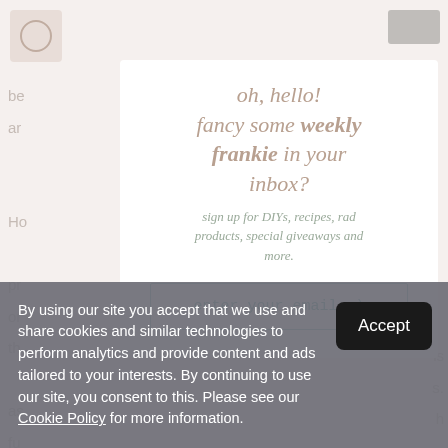oh, hello! fancy some weekly frankie in your inbox?
sign up for DIYs, recipes, rad products, special giveaways and more.
enter your email :)
By using our site you accept that we use and share cookies and similar technologies to perform analytics and provide content and ads tailored to your interests. By continuing to use our site, you consent to this. Please see our Cookie Policy for more information.
Accept